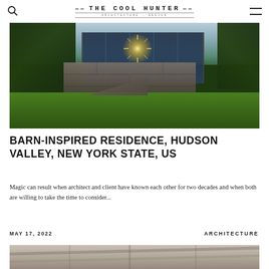THE COOL HUNTER
[Figure (photo): Exterior view of a barn-inspired stone and glass residence at sunset, surrounded by trees and green lawn, Hudson Valley, New York State]
BARN-INSPIRED RESIDENCE, HUDSON VALLEY, NEW YORK STATE, US
Magic can result when architect and client have known each other for two decades and when both are willing to take the time to consider...
MAY 17, 2022
ARCHITECTURE
[Figure (photo): Interior architectural detail showing ceiling structure]